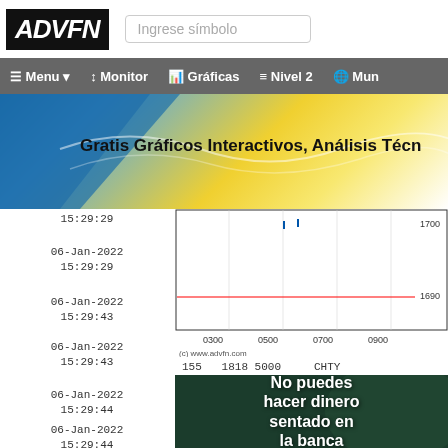ADVFN
Ingrese símbolo
Menu  Monitor  Gráficas  Nivel 2  Mun
[Figure (screenshot): ADVFN banner: Gratis Gráficos Interactivos, Análisis Técn - blue and gold gradient background]
15:29:29
[Figure (line-chart): Stock price chart showing data around 1690-1700 range, with x-axis labels 0300, 0500, 0700, 0900, and a red horizontal line near 1690. Credit: (c) www.advfn.com]
06-Jan-2022 15:29:29
06-Jan-2022 15:29:43
155   1818  5000        CHTY
06-Jan-2022 15:29:43
06-Jan-2022 15:29:44
06-Jan-2022 15:29:44
[Figure (photo): Advertisement showing a soccer player in green jersey celebrating with text: No puedes hacer dinero sentado en la banca]